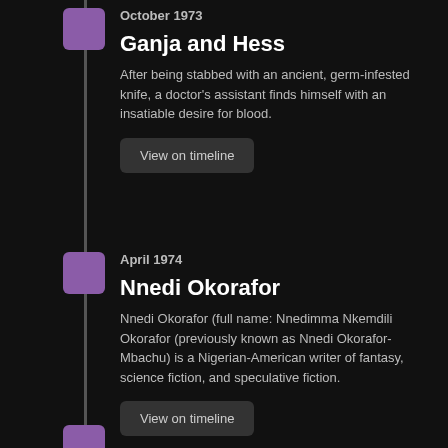October 1973
Ganja and Hess
After being stabbed with an ancient, germ-infested knife, a doctor's assistant finds himself with an insatiable desire for blood.
View on timeline
April 1974
Nnedi Okorafor
Nnedi Okorafor (full name: Nnedimma Nkemdili Okorafor (previously known as Nnedi Okorafor-Mbachu) is a Nigerian-American writer of fantasy, science fiction, and speculative fiction.
View on timeline